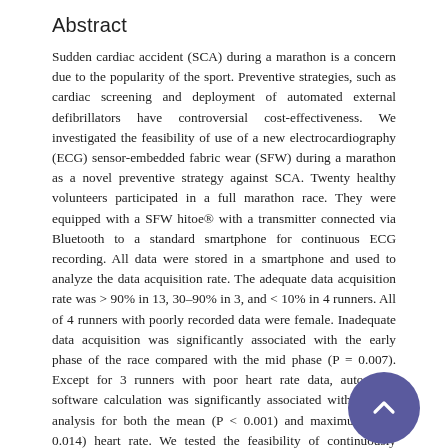Abstract
Sudden cardiac accident (SCA) during a marathon is a concern due to the popularity of the sport. Preventive strategies, such as cardiac screening and deployment of automated external defibrillators have controversial cost-effectiveness. We investigated the feasibility of use of a new electrocardiography (ECG) sensor-embedded fabric wear (SFW) during a marathon as a novel preventive strategy against SCA. Twenty healthy volunteers participated in a full marathon race. They were equipped with a SFW hitoe® with a transmitter connected via Bluetooth to a standard smartphone for continuous ECG recording. All data were stored in a smartphone and used to analyze the data acquisition rate. The adequate data acquisition rate was > 90% in 13, 30–90% in 3, and < 10% in 4 runners. All of 4 runners with poorly recorded data were female. Inadequate data acquisition was significantly associated with the early phase of the race compared with the mid phase (P = 0.007). Except for 3 runners with poor heart rate data, automated software calculation was significantly associated with manual analysis for both the mean (P < 0.001) and maximum (P = 0.014) heart rate. We tested the feasibility of continuously recording cardiac data during a marathon using a new ECG sensor-embedded wearable